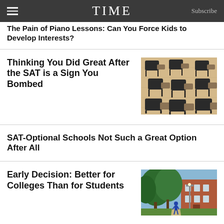TIME | Subscribe
The Pain of Piano Lessons: Can You Force Kids to Develop Interests?
Thinking You Did Great After the SAT is a Sign You Bombed
[Figure (photo): Rows of black school/exam chairs with small attached desks on a light wood floor, viewed from above at an angle]
SAT-Optional Schools Not Such a Great Option After All
Early Decision: Better for Colleges Than for Students
[Figure (photo): Outdoor campus scene with large green trees and a red brick building in the background, a person walking on a path]